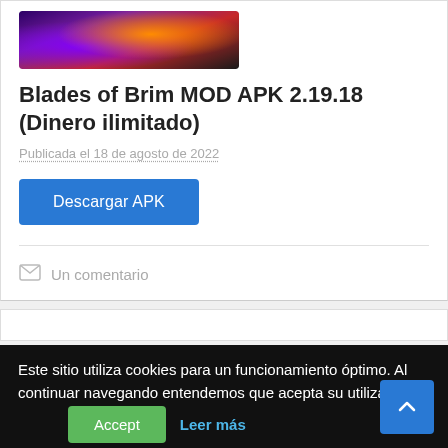[Figure (photo): Game artwork image for Blades of Brim, showing a dark fantasy/action game scene with purple, orange and dark tones]
Blades of Brim MOD APK 2.19.18 (Dinero ilimitado)
Publicada el 18 de agosto de 2022
Descargar APK
Un comentario
Este sitio utiliza cookies para un funcionamiento óptimo. Al continuar navegando entendemos que acepta su utilización.
Accept
Leer más